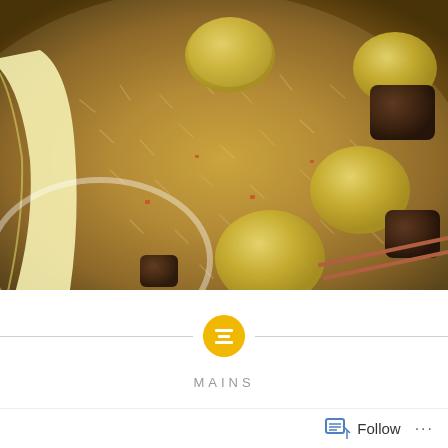[Figure (photo): Close-up photo of a plate of pilau rice dish with potatoes, meat chunks, and a banana slice on the side, with chopsticks resting on the plate]
MAINS
Pilau
Follow ...